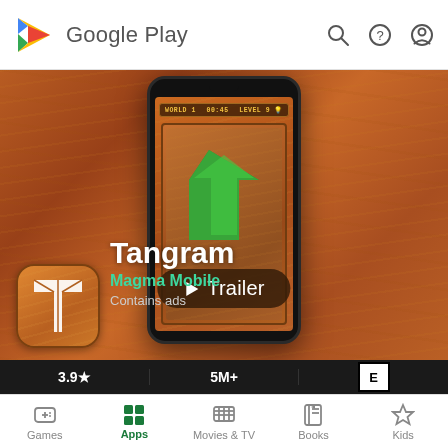Google Play
[Figure (screenshot): Google Play Store listing for Tangram app by Magma Mobile, showing a phone mockup with a Tangram game screen and a Trailer button overlay on a wood-textured background]
Tangram
Magma Mobile
Contains ads
3.9★
5M+
[Figure (logo): ESRB E rating logo]
Games  Apps  Movies & TV  Books  Kids